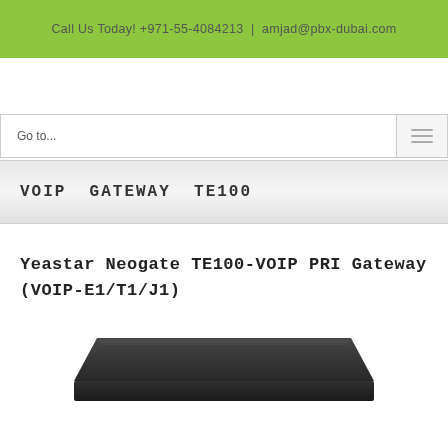Call Us Today! +971-55-4084213 | amjad@pbx-dubai.com
VOIP GATEWAY TE100
Yeastar Neogate TE100-VOIP PRI Gateway (VOIP-E1/T1/J1)
[Figure (photo): Yeastar Neogate TE100 VOIP PRI Gateway device — a dark charcoal/black rack-unit hardware device shown from above at a slight angle, with a trapezoidal top profile.]